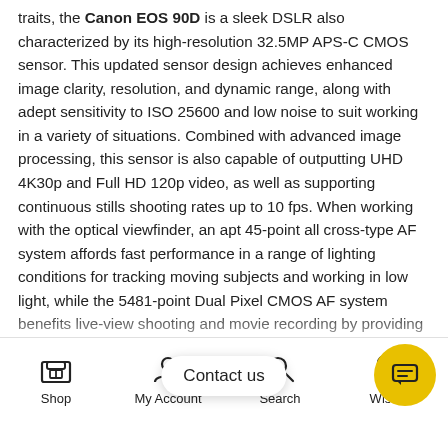traits, the Canon EOS 90D is a sleek DSLR also characterized by its high-resolution 32.5MP APS-C CMOS sensor. This updated sensor design achieves enhanced image clarity, resolution, and dynamic range, along with adept sensitivity to ISO 25600 and low noise to suit working in a variety of situations. Combined with advanced image processing, this sensor is also capable of outputting UHD 4K30p and Full HD 120p video, as well as supporting continuous stills shooting rates up to 10 fps. When working with the optical viewfinder, an apt 45-point all cross-type AF system affords fast performance in a range of lighting conditions for tracking moving subjects and working in low light, while the 5481-point Dual Pixel CMOS AF system benefits live-view shooting and movie recording by providing a smooth, natural focusing quality akin to the way a camcorder acquires focus. Complementing the imaging capabilities, the 90D sports a vari-angle touchscreen LCD for intuitive control and compositional freedom, and an optical pentaprism viewfinder provides a bright, clear, and realis...
[Figure (screenshot): Mobile website bottom navigation bar with Shop, My Account, Search, Wishlist icons and a Contact us chat bubble overlay with yellow chat circle button]